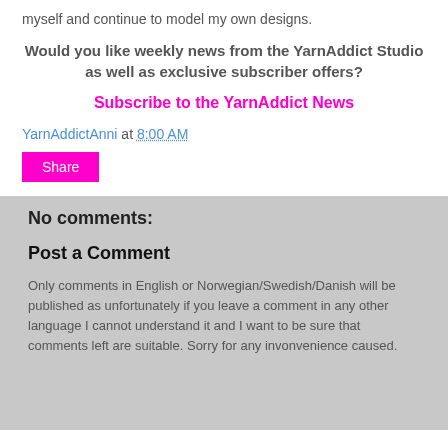myself and continue to model my own designs.
Would you like weekly news from the YarnAddict Studio as well as exclusive subscriber offers?
Subscribe to the YarnAddict News
YarnAddictAnni at 8:00 AM
Share
No comments:
Post a Comment
Only comments in English or Norwegian/Swedish/Danish will be published as unfortunately if you leave a comment in any other language I cannot understand it and I want to be sure that comments left are suitable. Sorry for any invonvenience caused.